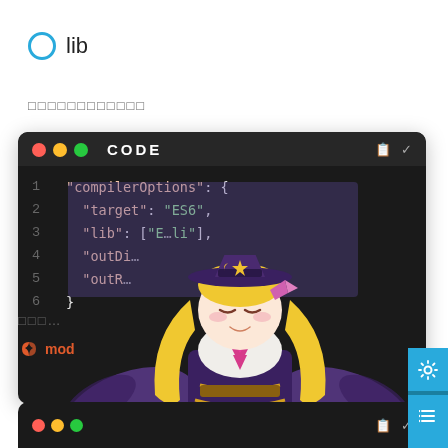lib
□□□□□□□□□□□□
[Figure (screenshot): Code editor block with dark background showing tsconfig.json compilerOptions with lines: 1: "compilerOptions": {, 2: "target": "ES6",, 3: "lib": ["E..."],, 4: "outDi...,  5: "outR..., 6: }]
[Figure (illustration): Anime character - blonde girl with bat wings, purple wizard hat, fantasy costume, smiling with eyes closed]
□□□...
[Figure (screenshot): Bottom code editor block, dark background, partially visible]